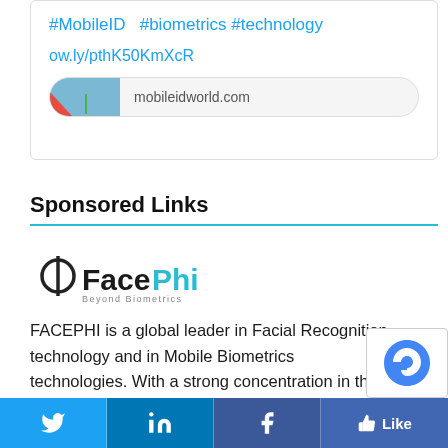#MobileID  #biometrics #technology
ow.ly/pthK50KmXcR
[Figure (screenshot): Link preview card showing mobileidworld.com with thumbnail image]
Sponsored Links
[Figure (logo): FacePhi logo — phi symbol with FacePhi text and 'Beyond Biometrics' tagline]
FACEPHI is a global leader in Facial Recognition technology and in Mobile Biometrics technologies. With a strong concentration in the financial sector, FacePhi's product is rapidly becoming a service used by banks over the world. Its implementation doesn't just save party,
[Figure (screenshot): Social media share bar with Twitter, LinkedIn, Facebook, and Like buttons]